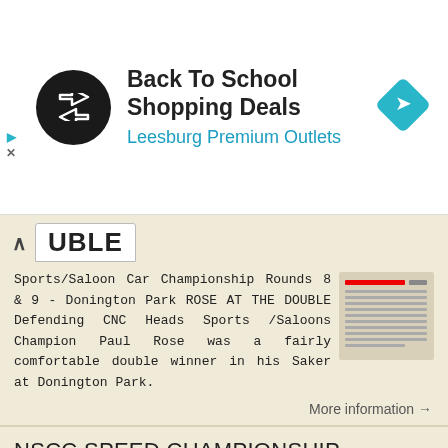[Figure (logo): Advertisement banner: Back To School Shopping Deals at Leesburg Premium Outlets, with a circular black logo with double-arrow icon and a blue diamond navigation icon]
UBLE
Sports/Saloon Car Championship Rounds 8 & 9 - Donington Park ROSE AT THE DOUBLE Defending CNC Heads Sports /Saloons Champion Paul Rose was a fairly comfortable double winner in his Saker at Donington Park.
More information →
NSCC SPEED CHAMPIONSHIP TARGET TIMES 2018 Version 2-28/2/18
NC SPEED CHAMPIONSHIP TARGET TIMES 2018 Version 2-28/2/18 Date R1 R2/R11/R20 R3 R4 R5/R16 R6 R7 R8 R9